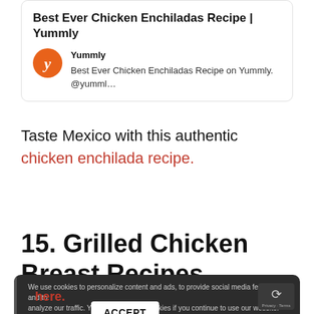[Figure (screenshot): Search result card showing 'Best Ever Chicken Enchiladas Recipe | Yummly' with Yummly orange logo and description text]
Taste Mexico with this authentic chicken enchilada recipe.
15. Grilled Chicken Breast Recipes
[Figure (screenshot): Dark cookie consent banner overlay with ACCEPT button and partial text about grilled chicken breast recipes and a link 'Get your choice here.']